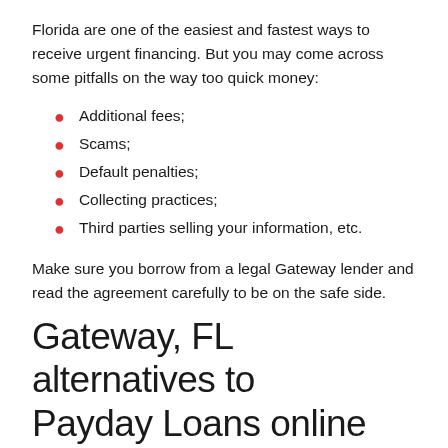Florida are one of the easiest and fastest ways to receive urgent financing. But you may come across some pitfalls on the way too quick money:
Additional fees;
Scams;
Default penalties;
Collecting practices;
Third parties selling your information, etc.
Make sure you borrow from a legal Gateway lender and read the agreement carefully to be on the safe side.
Gateway, FL alternatives to Payday Loans online
If for some reason you want to avoid a short-term Payday Loan, you can choose among the other cash advances available in Gateway: